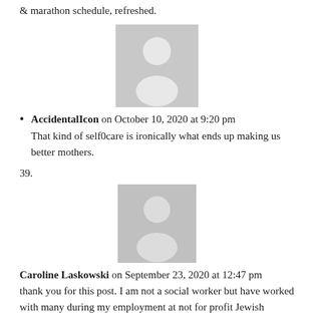& marathon schedule, refreshed.
[Figure (photo): Generic user avatar placeholder image (gray silhouette on gray background)]
AccidentalIcon on October 10, 2020 at 9:20 pm
That kind of self0care is ironically what ends up making us better mothers.
39.
[Figure (photo): Generic user avatar placeholder image (gray silhouette on gray background)]
Caroline Laskowski on September 23, 2020 at 12:47 pm
thank you for this post. I am not a social worker but have worked with many during my employment at not for profit Jewish organizations. The stress of burnout of human...